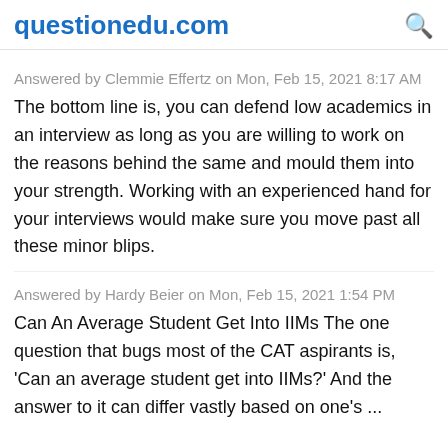questionedu.com
Answered by Clemmie Effertz on Mon, Feb 15, 2021 8:17 AM
The bottom line is, you can defend low academics in an interview as long as you are willing to work on the reasons behind the same and mould them into your strength. Working with an experienced hand for your interviews would make sure you move past all these minor blips.
Answered by Hardy Beier on Mon, Feb 15, 2021 1:54 PM
Can An Average Student Get Into IIMs The one question that bugs most of the CAT aspirants is, 'Can an average student get into IIMs?' And the answer to it can differ vastly based on one's ...